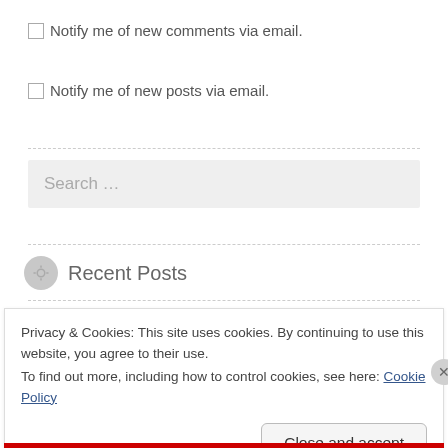Notify me of new comments via email.
Notify me of new posts via email.
Search ...
Recent Posts
Privacy & Cookies: This site uses cookies. By continuing to use this website, you agree to their use.
To find out more, including how to control cookies, see here: Cookie Policy
Close and accept